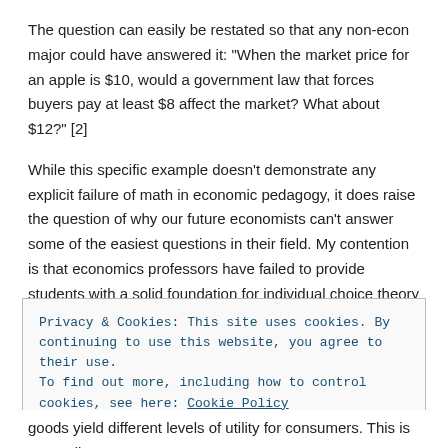The question can easily be restated so that any non-econ major could have answered it: "When the market price for an apple is $10, would a government law that forces buyers pay at least $8 affect the market? What about $12?" [2]
While this specific example doesn't demonstrate any explicit failure of math in economic pedagogy, it does raise the question of why our future economists can't answer some of the easiest questions in their field. My contention is that economics professors have failed to provide students with a solid foundation for individual choice theory – that is, how individuals make choices given their incentives and their real-world options.
Privacy & Cookies: This site uses cookies. By continuing to use this website, you agree to their use.
To find out more, including how to control cookies, see here: Cookie Policy
Close and accept
goods yield different levels of utility for consumers. This is generally